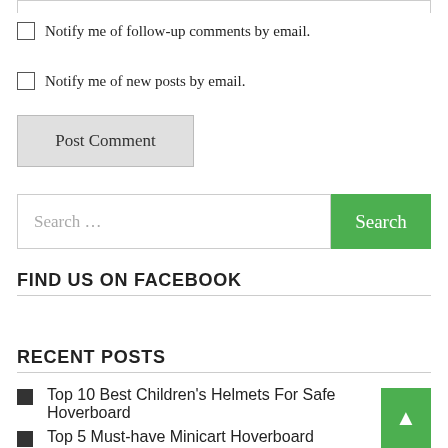Notify me of follow-up comments by email.
Notify me of new posts by email.
Post Comment
Search …
FIND US ON FACEBOOK
RECENT POSTS
Top 10 Best Children's Helmets For Safe Hoverboard
Top 5 Must-have Minicart Hoverboard